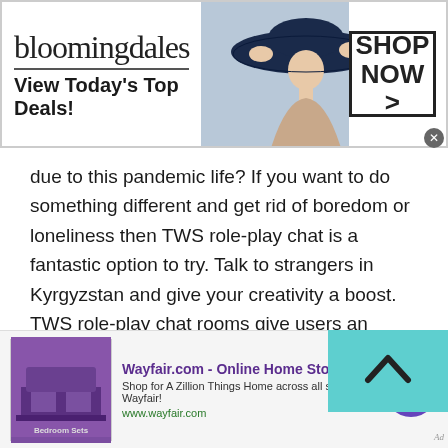[Figure (screenshot): Bloomingdales advertisement banner: logo text 'bloomingdales', tagline 'View Today's Top Deals!', image of woman in large hat, and 'SHOP NOW >' button in bordered box]
due to this pandemic life? If you want to do something different and get rid of boredom or loneliness then TWS role-play chat is a fantastic option to try. Talk to strangers in Kyrgyzstan and give your creativity a boost. TWS role-play chat rooms give users an opportunity to unleash their inner potential or act who they want to be.
Nothing is more enjoyable than acting your all-time favorite character. Yes, once you join TWS role-play
[Figure (screenshot): Scroll-to-top button overlay: teal/cyan background with upward chevron arrow icon]
[Figure (screenshot): Wayfair.com advertisement banner: 'Wayfair.com - Online Home Store Sale!' headline, subtext 'Shop for A Zillion Things Home across all styles at Wayfair!', URL www.wayfair.com, purple bedroom furniture image, circular purple arrow button]